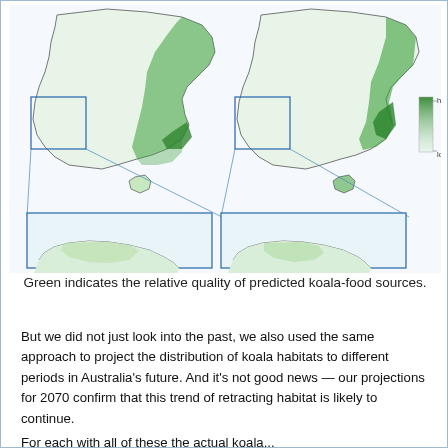[Figure (map): Two maps of Australia side by side showing koala habitat suitability (green shading, darker green = highest suitability, lighter = lowest suitability). Each map has a zoomed-in inset of the southwest corner (South Australia/Victoria area). The left map shows historical distribution, the right shows projected/current distribution with notably less green coverage. A legend shows 'highest suitability' (dark green) to 'lowest suitability' (light green).]
Green indicates the relative quality of predicted koala-food sources.
But we did not just look into the past, we also used the same approach to project the distribution of koala habitats to different periods in Australia's future. And it's not good news — our projections for 2070 confirm that this trend of retracting habitat is likely to continue.
For each with all of these the actual koala...